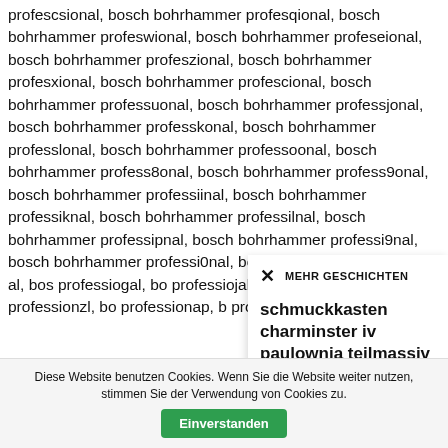profescsional, bosch bohrhammer profesqional, bosch bohrhammer profeswional, bosch bohrhammer profeseional, bosch bohrhammer profeszional, bosch bohrhammer profesxional, bosch bohrhammer profescional, bosch bohrhammer professuonal, bosch bohrhammer professjonal, bosch bohrhammer professkonal, bosch bohrhammer professlonal, bosch bohrhammer professoonal, bosch bohrhammer profess8onal, bosch bohrhammer profess9onal, bosch bohrhammer professiinal, bosch bohrhammer professiknal, bosch bohrhammer professilnal, bosch bohrhammer professipnal, bosch bohrhammer professi9nal, bosch bohrhammer professi0nal, bosch bohrhammer professio al, bos professiogal, bo professiojal, bos professionql, bo professionzl, bo professionap, b professionai, bo
[Figure (screenshot): Overlay panel with close button (×), header 'MEHR GESCHICHTEN', and article title 'schmuckkasten charminster iv paulownia teilmassiv maison belfort']
Diese Website benutzen Cookies. Wenn Sie die Website weiter nutzen, stimmen Sie der Verwendung von Cookies zu. Einverstanden